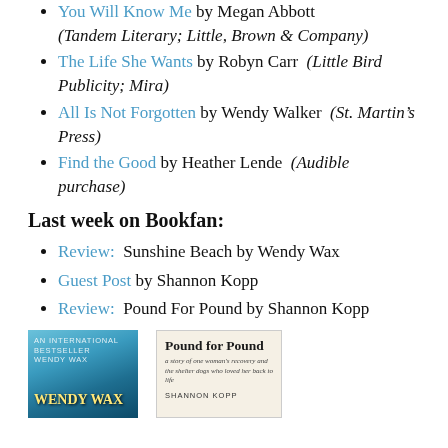You Will Know Me by Megan Abbott (Tandem Literary; Little, Brown & Company)
The Life She Wants by Robyn Carr (Little Bird Publicity; Mira)
All Is Not Forgotten by Wendy Walker (St. Martin's Press)
Find the Good by Heather Lende (Audible purchase)
Last week on Bookfan:
Review: Sunshine Beach by Wendy Wax
Guest Post by Shannon Kopp
Review: Pound For Pound by Shannon Kopp
[Figure (photo): Two book cover images side by side: left is Sunshine Beach by Wendy Wax (blue ocean cover), right is Pound for Pound by Shannon Kopp (cream/beige cover with subtitle text)]